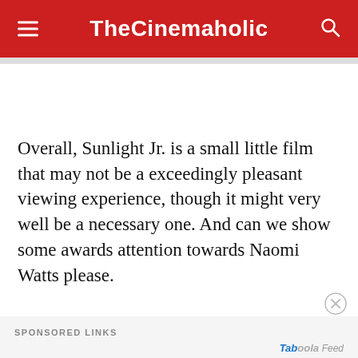TheCinemaholic
Overall, Sunlight Jr. is a small little film that may not be a exceedingly pleasant viewing experience, though it might very well be a necessary one. And can we show some awards attention towards Naomi Watts please.
SPONSORED LINKS
Taboola Feed